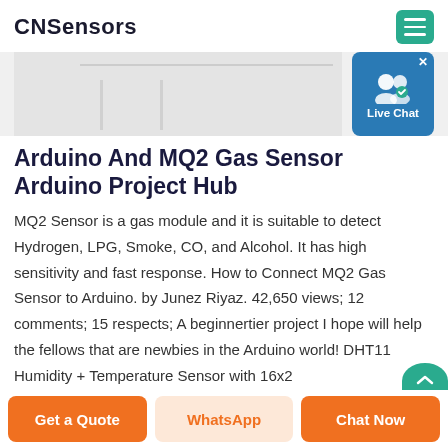CNSensors
[Figure (photo): Partial product/Arduino image at top, cropped. Live Chat bubble overlay in top right.]
Arduino And MQ2 Gas Sensor Arduino Project Hub
MQ2 Sensor is a gas module and it is suitable to detect Hydrogen, LPG, Smoke, CO, and Alcohol. It has high sensitivity and fast response. How to Connect MQ2 Gas Sensor to Arduino. by Junez Riyaz. 42,650 views; 12 comments; 15 respects; A beginnertier project I hope will help the fellows that are newbies in the Arduino world! DHT11 Humidity + Temperature Sensor with 16x2
Get a Quote | WhatsApp | Chat Now